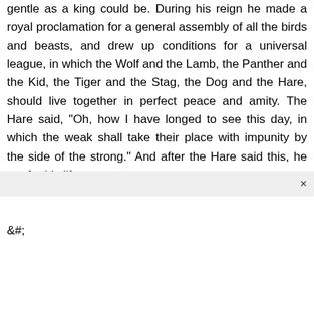gentle as a king could be. During his reign he made a royal proclamation for a general assembly of all the birds and beasts, and drew up conditions for a universal league, in which the Wolf and the Lamb, the Panther and the Kid, the Tiger and the Stag, the Dog and the Hare, should live together in perfect peace and amity. The Hare said, "Oh, how I have longed to see this day, in which the weak shall take their place with impunity by the side of the strong." And after the Hare said this, he ran for his life.
&#;